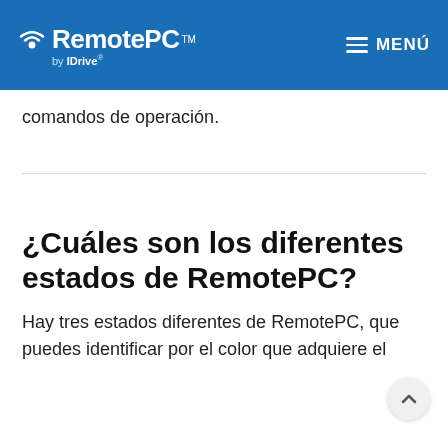RemotePC™ by IDrive — MENÚ
comandos de operación.
¿Cuáles son los diferentes estados de RemotePC?
Hay tres estados diferentes de RemotePC, que puedes identificar por el color que adquiere el